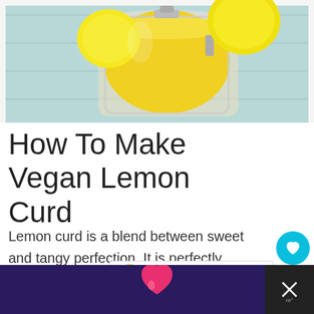[Figure (photo): Photo of lemon curd in a glass jar with a clip-top lid, with lemons in the background on a light blue wooden surface]
How To Make Vegan Lemon Curd
Lemon curd is a blend between sweet and tangy perfection. It is perfectly creamy and uses no dairy at all!
I love making this for gifts for Mother's